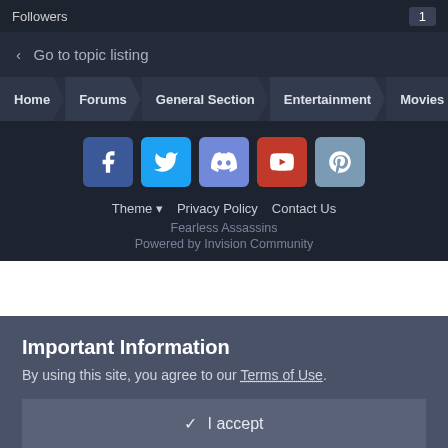Followers  1
< Go to topic listing
Home  Forums  General Section  Entertainment  Movies
[Figure (screenshot): Social media icons: Facebook, Twitter, Discord, YouTube, Steam]
Theme ▼  Privacy Policy  Contact Us
Fearless Assassins
Powered by Invision Community
Important Information
By using this site, you agree to our Terms of Use.
✓ I accept